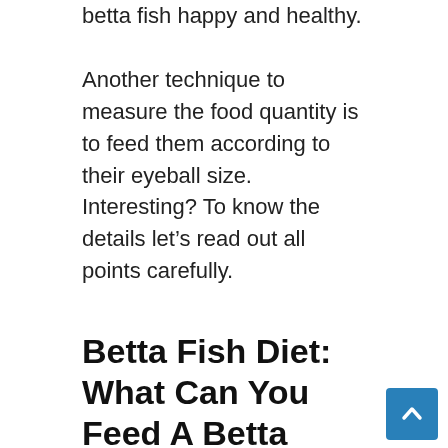betta fish happy and healthy.
Another technique to measure the food quantity is to feed them according to their eyeball size. Interesting? To know the details let's read out all points carefully.
Betta Fish Diet: What Can You Feed A Betta Fish?
In the wild, they'll search for bloodworms, brine shrimp, and tiny insects. Sometimes they are simply dangerous because of their rapacious nature. That's why they are referred to as Siamese fighting fish.